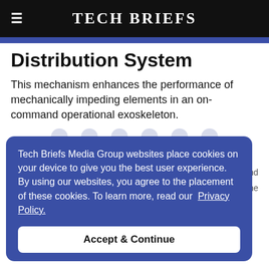TECH BRIEFS
Distribution System
This mechanism enhances the performance of mechanically impeding elements in an on-command operational exoskeleton.
Tech Briefs Media Group websites place cookies on your device to give you the best user experience. By using our websites, you agree to the placement of these cookies. To learn more, read our Privacy Policy.
Accept & Continue
bone and es in the controlled resist lier type of exercise machines that maintains boldness: the Crew Exercise Vibration Isolation System (CEVIS), the